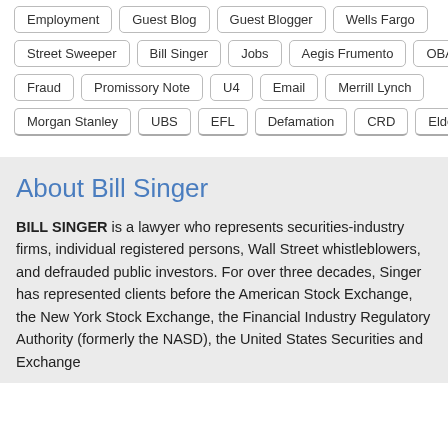Employment
Guest Blog
Guest Blogger
Wells Fargo
Street Sweeper
Bill Singer
Jobs
Aegis Frumento
OBA
U5
Fraud
Promissory Note
U4
Email
Merrill Lynch
Morgan Stanley
UBS
EFL
Defamation
CRD
Elderly
About Bill Singer
BILL SINGER is a lawyer who represents securities-industry firms, individual registered persons, Wall Street whistleblowers, and defrauded public investors. For over three decades, Singer has represented clients before the American Stock Exchange, the New York Stock Exchange, the Financial Industry Regulatory Authority (formerly the NASD), the United States Securities and Exchange